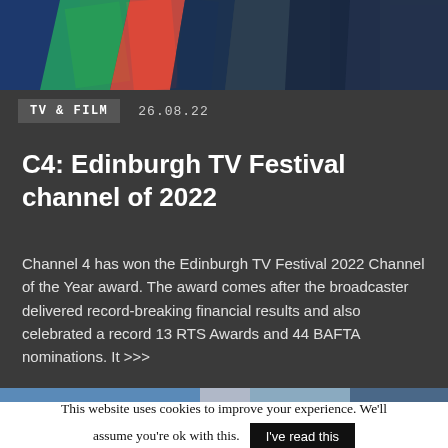[Figure (photo): Colourful abstract photo with blue, green, and red shapes, likely TV festival branding imagery]
TV & FILM   26.08.22
C4: Edinburgh TV Festival channel of 2022
Channel 4 has won the Edinburgh TV Festival 2022 Channel of the Year award. The award comes after the broadcaster delivered record-breaking financial results and also celebrated a record 13 RTS Awards and 44 BAFTA nominations. It >>>
[Figure (photo): Narrow horizontal strip showing partial view of another article image]
This website uses cookies to improve your experience. We'll assume you're ok with this. I've read this